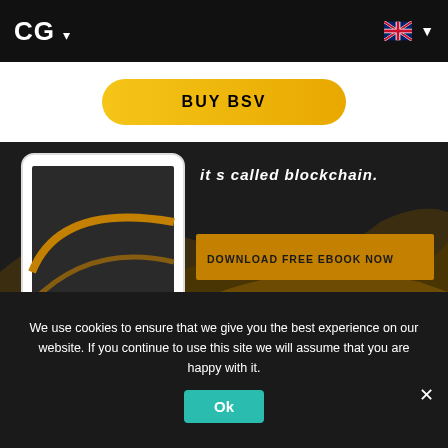CG ▾
[Figure (screenshot): BUY BSV button - gold/amber pill-shaped button on white background]
[Figure (screenshot): Banner with tablet illustration on dark background, text 'it s called blockchain.' and 'DOWNLOAD FREE EBOOK NOW' gold button]
LATEST NEWS
We use cookies to ensure that we give you the best experience on our website. If you continue to use this site we will assume that you are happy with it.